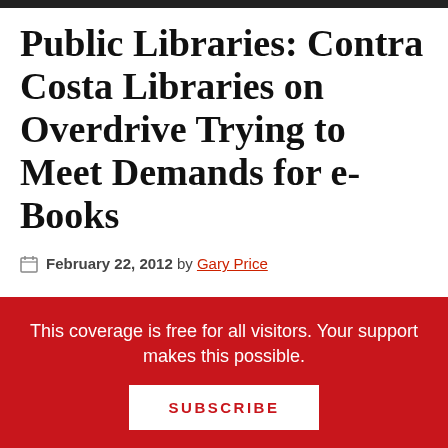Public Libraries: Contra Costa Libraries on Overdrive Trying to Meet Demands for e-Books
February 22, 2012 by Gary Price
We posted an article from The Washington Post about five weeks ago that reported delays in ebook demand outstripping supply at several metro DC
This coverage is free for all visitors. Your support makes this possible.
SUBSCRIBE